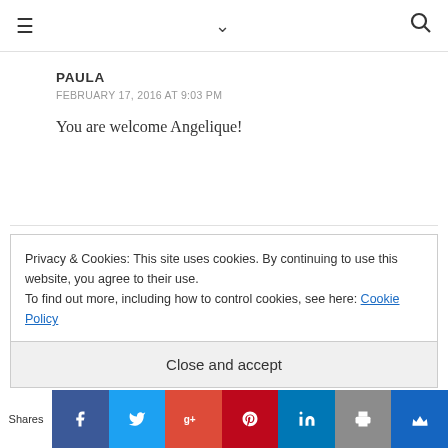≡  ✓  🔍
PAULA
FEBRUARY 17, 2016 AT 9:03 PM
You are welcome Angelique!
Privacy & Cookies: This site uses cookies. By continuing to use this website, you agree to their use.
To find out more, including how to control cookies, see here: Cookie Policy
Close and accept
Shares  [Facebook] [Twitter] [Google+] [Pinterest] [LinkedIn] [Print] [Crown]